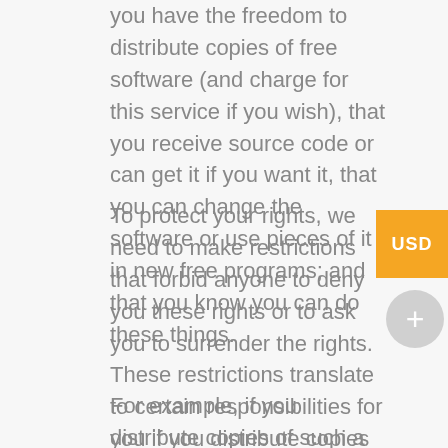you have the freedom to distribute copies of free software (and charge for this service if you wish), that you receive source code or can get it if you want it, that you can change the software or use pieces of it in new free programs; and that you know you can do these things.
To protect your rights, we need to make restrictions that forbid anyone to deny you these rights or to ask you to surrender the rights. These restrictions translate to certain responsibilities for you if you distribute copies of the software, or if you modify it.
For example, if you distribute copies of such a program, whether gratis or for a fee, you must give the recipients all the rights that you have.